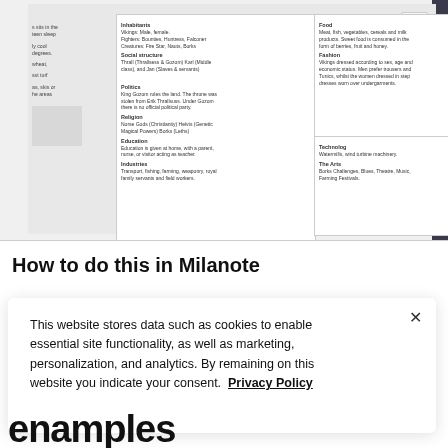[Figure (screenshot): Screenshot of a Milanote board showing Viking civilization information cards. Left card contains: Inhabitants (Vikings: Male, female; Fighters: Bounties, Huntress, Falconer; Creatures: Fire Star, Nauts, Borks), Social structure (Thrall (Thrallsess & Gozom) Karl (Middle class), and Jan (Slaves & servants)), Politics (King Gozom rules the land. The throne was stolen from Erik Thrallsuss. Under Gozom there is no official political party.), Religion (Norse Gods (Christianity) Helvts (Genetic Magical Powers) Borks (Leths)), Education (Education is given at home, with a parent, nurse, or visitor acting as teacher.), Industries (Transport, fishing, farming, weaponry, royal family servants and field workers.). Right top card: Food (Meat, fish, vegetables, cereals and milk products. Sweet food is consumed in the form of berries, fruit and honey.), Fashion (Vikings dressed according to sex, age and economic status. Men prefer trousers and Tunics, whilst the women dressed in step dresses worn over undergarments.). Right bottom card: Technology (Watermills, wind turbine machinery.), The Arts (Borks Challenges, Blues, Theatre, Music, Farming Festivals.)]
How to do this in Milanote
This website stores data such as cookies to enable essential site functionality, as well as marketing, personalization, and analytics. By remaining on this website you indicate your consent.  Privacy Policy